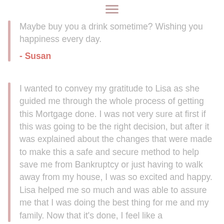≡
Maybe buy you a drink sometime? Wishing you happiness every day.
- Susan
I wanted to convey my gratitude to Lisa as she guided me through the whole process of getting this Mortgage done. I was not very sure at first if this was going to be the right decision, but after it was explained about the changes that were made to make this a safe and secure method to help save me from Bankruptcy or just having to walk away from my house, I was so excited and happy. Lisa helped me so much and was able to assure me that I was doing the best thing for me and my family. Now that it's done, I feel like a